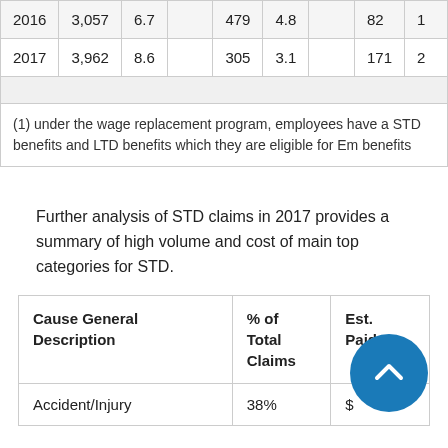| 2016 | 3,057 | 6.7 |  | 479 | 4.8 |  | 82 | 1 |
| 2017 | 3,962 | 8.6 |  | 305 | 3.1 |  | 171 | 2 |
(1) under the wage replacement program, employees have a STD benefits and LTD benefits which they are eligible for Em benefits
Further analysis of STD claims in 2017 provides a summary of high volume and cost of main top categories for STD.
| Cause General Description | % of Total Claims | Est. Paid |
| --- | --- | --- |
| Accident/Injury | 38% | $ |